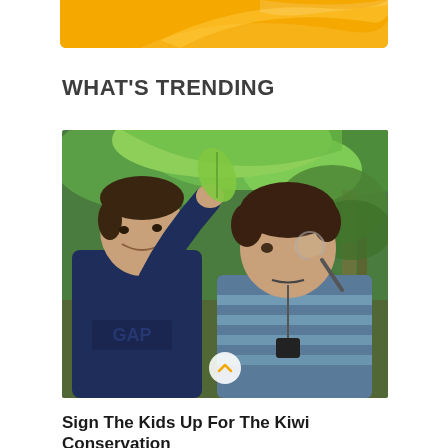WHAT'S TRENDING
[Figure (photo): Two boys outdoors in a forest setting examining small objects. The boy on the left wears a navy GAP hoodie and holds a leaf up to the light. The boy on the right wears a blue striped sweater and holds a magnifying glass up to his eye. Green foliage surrounds them.]
Sign The Kids Up For The Kiwi Conservation